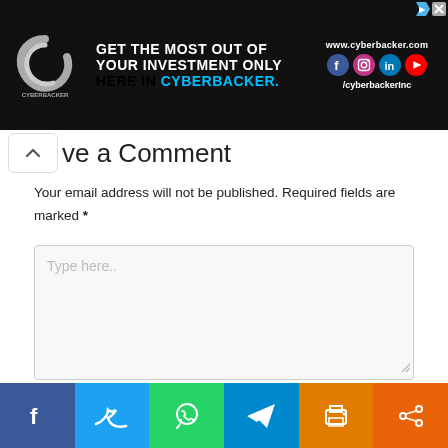[Figure (other): Cyberbacker advertisement banner with logo, text 'GET THE MOST OUT OF YOUR INVESTMENT ONLY HERE IN CYBERBACKER.' and social media icons, website www.cyberbacker.com]
Leave a Comment
Your email address will not be published. Required fields are marked *
[Figure (other): Comment text area input box with placeholder text 'Type here..']
[Figure (other): Social share bar with Facebook, Twitter, WhatsApp, Telegram, Print, and Share buttons]